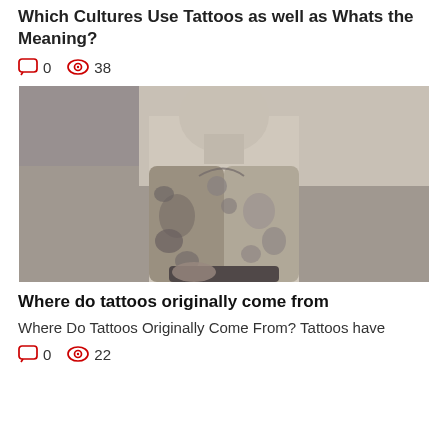Which Cultures Use Tattoos as well as Whats the Meaning?
0   38
[Figure (photo): Black and white vintage photograph of a heavily tattooed person showing intricate tattoo designs covering their arms, chest, and torso.]
Where do tattoos originally come from
Where Do Tattoos Originally Come From? Tattoos have
0   22